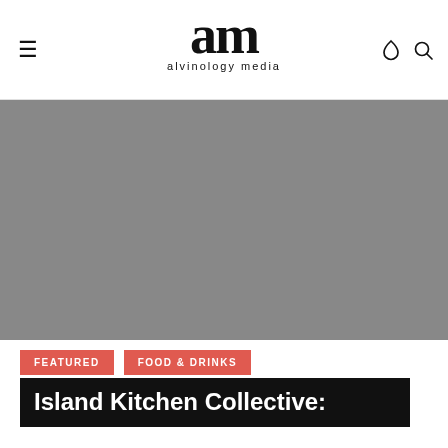alvinology media
[Figure (photo): Large grey placeholder hero image area]
FEATURED
FOOD & DRINKS
Island Kitchen Collective: